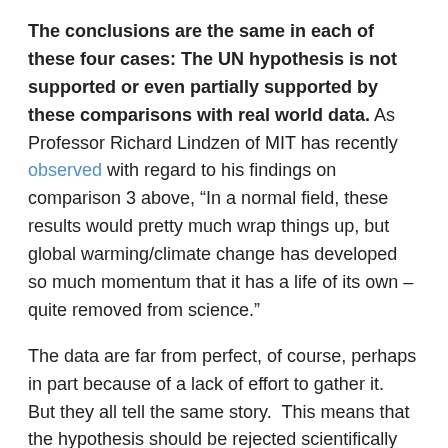The conclusions are the same in each of these four cases: The UN hypothesis is not supported or even partially supported by these comparisons with real world data. As Professor Richard Lindzen of MIT has recently observed with regard to his findings on comparison 3 above, “In a normal field, these results would pretty much wrap things up, but global warming/climate change has developed so much momentum that it has a life of its own – quite removed from science.”
The data are far from perfect, of course, perhaps in part because of a lack of effort to gather it.  But they all tell the same story.  This means that the hypothesis should be rejected scientifically based on current information. Future testing could lead to other conclusions, of course, but for